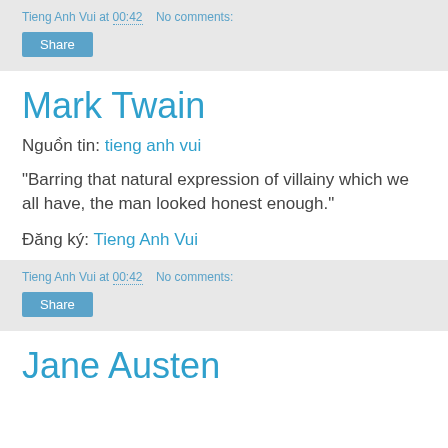Tieng Anh Vui at 00:42   No comments:   Share
Mark Twain
Nguồn tin: tieng anh vui
"Barring that natural expression of villainy which we all have, the man looked honest enough."
Đăng ký: Tieng Anh Vui
Tieng Anh Vui at 00:42   No comments:   Share
Jane Austen